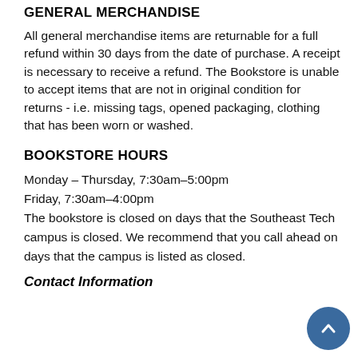GENERAL MERCHANDISE
All general merchandise items are returnable for a full refund within 30 days from the date of purchase. A receipt is necessary to receive a refund. The Bookstore is unable to accept items that are not in original condition for returns - i.e. missing tags, opened packaging, clothing that has been worn or washed.
BOOKSTORE HOURS
Monday – Thursday, 7:30am–5:00pm
Friday, 7:30am–4:00pm
The bookstore is closed on days that the Southeast Tech campus is closed. We recommend that you call ahead on days that the campus is listed as closed.
Contact Information